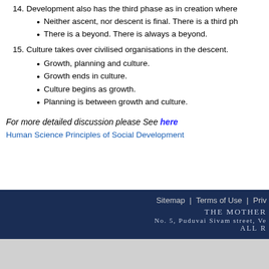14. Development also has the third phase as in creation where
Neither ascent, nor descent is final. There is a third ph
There is a beyond. There is always a beyond.
15. Culture takes over civilised organisations in the descent.
Growth, planning and culture.
Growth ends in culture.
Culture begins as growth.
Planning is between growth and culture.
For more detailed discussion please See here
Human Science Principles of Social Development
Sitemap | Terms of Use | Priv... THE MOTHER No. 5, Puduvai Sivam street, Ve... ALL ...